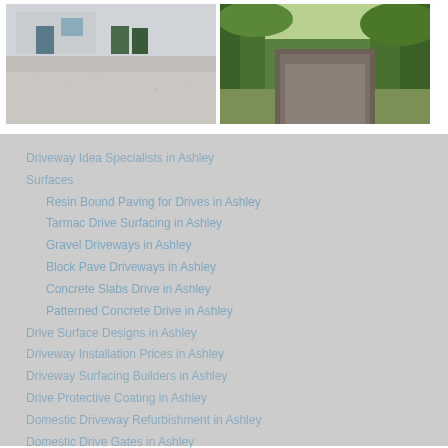[Figure (photo): Photo of a residential driveway with resin bound surface in front of a house with grey bins visible]
[Figure (photo): Photo of a tree-lined tarmac driveway road leading through green trees]
Driveway Idea Specialists in Ashley
Surfaces
Resin Bound Paving for Drives in Ashley
Tarmac Drive Surfacing in Ashley
Gravel Driveways in Ashley
Block Pave Driveways in Ashley
Concrete Slabs Drive in Ashley
Patterned Concrete Drive in Ashley
Drive Surface Designs in Ashley
Driveway Installation Prices in Ashley
Driveway Surfacing Builders in Ashley
Drive Protective Coating in Ashley
Domestic Driveway Refurbishment in Ashley
Domestic Drive Gates in Ashley